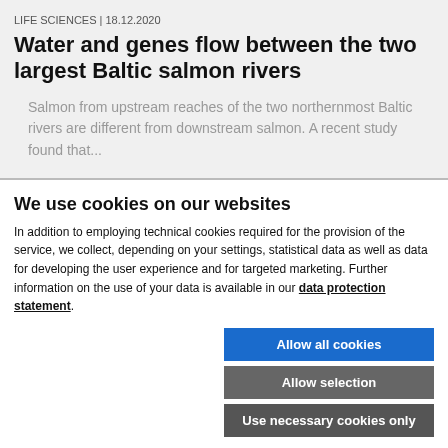LIFE SCIENCES | 18.12.2020
Water and genes flow between the two largest Baltic salmon rivers
Salmon from upstream reaches of the two northernmost Baltic rivers are different from downstream salmon. A recent study found that...
We use cookies on our websites
In addition to employing technical cookies required for the provision of the service, we collect, depending on your settings, statistical data as well as data for developing the user experience and for targeted marketing. Further information on the use of your data is available in our data protection statement.
Allow all cookies
Allow selection
Use necessary cookies only
Necessary technical cookies | Functional cookies | Statistics cookies | Marketing cookies | Show details